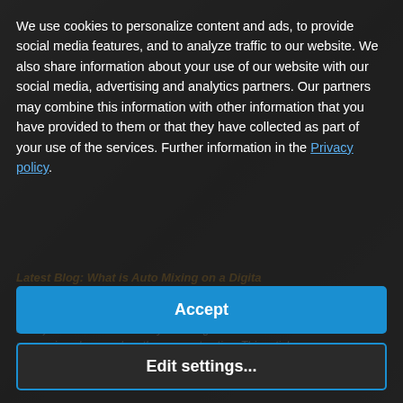We use cookies to personalize content and ads, to provide social media features, and to analyze traffic to our website. We also share information about your use of our website with our social media, advertising and analytics partners. Our partners may combine this information with other information that you have provided to them or that they have collected as part of your use of the services. Further information in the Privacy policy.
Latest Blog: What is Auto Mixing on a Digital Mixer?
... 2022 - An automatic microphone mixer (auto mixer) allows to automatically reducing the volume of one or more microphones when they are not active. This article describes how the gain-sharing Auto Mixer function works in...
Accept
Edit settings...